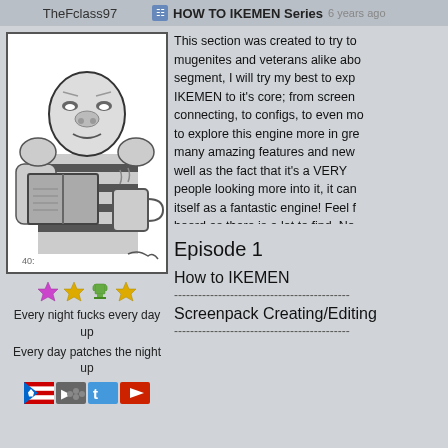TheFclass97 | HOW TO IKEMEN Series  6 years ago
[Figure (illustration): Black and white sketch illustration of a cartoon character hunched over reading a book, holding a coffee cup]
[Figure (other): Four star/trophy rating icons in purple and yellow/green]
Every night fucks every day up
Every day patches the night up
[Figure (other): Four social media / flag badge icons: Puerto Rico flag, game icon, Twitter, YouTube]
This section was created to try to mugenites and veterans alike about segment, I will try my best to explore IKEMEN to it's core; from screen connecting, to configs, to even more to explore this engine more in great many amazing features and newer well as the fact that it's a VERY people looking more into it, it can itself as a fantastic engine! Feel free board as there is a lot to find. No welcome to the "HOW TO IKEMEN
Episode 1
How to IKEMEN
--------------------------------------------
Screenpack Creating/Editing
--------------------------------------------